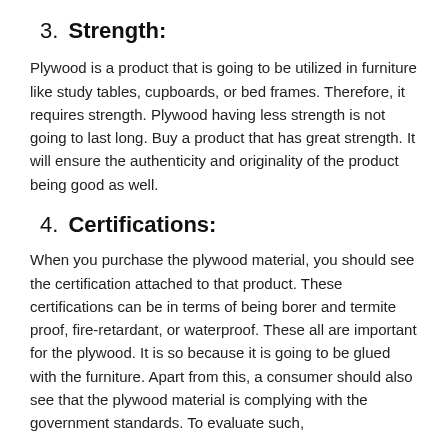3. Strength:
Plywood is a product that is going to be utilized in furniture like study tables, cupboards, or bed frames. Therefore, it requires strength. Plywood having less strength is not going to last long. Buy a product that has great strength. It will ensure the authenticity and originality of the product being good as well.
4. Certifications:
When you purchase the plywood material, you should see the certification attached to that product. These certifications can be in terms of being borer and termite proof, fire-retardant, or waterproof. These all are important for the plywood. It is so because it is going to be glued with the furniture. Apart from this, a consumer should also see that the plywood material is complying with the government standards. To evaluate such,